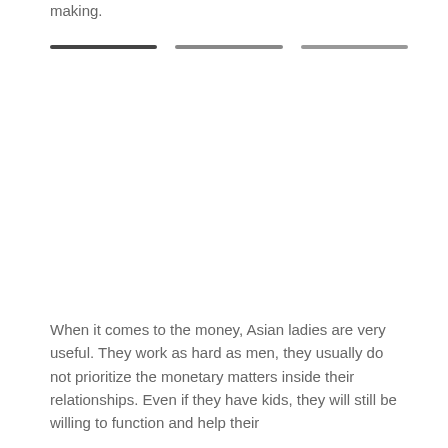making.
[Figure (other): Three horizontal divider lines of varying shades (dark, medium, light gray)]
When it comes to the money, Asian ladies are very useful. They work as hard as men, they usually do not prioritize the monetary matters inside their relationships. Even if they have kids, they will still be willing to function and help their